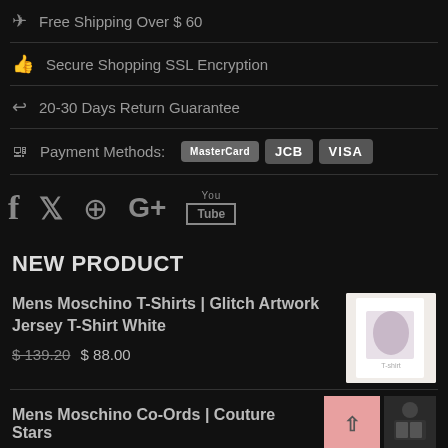✈ Free Shipping Over $ 60
👍 Secure Shopping SSL Encryption
↩ 20-30 Days Return Guarantee
🖳 Payment Methods: MasterCard JCB VISA
[Figure (other): Social media icons row: Facebook, Twitter, Pinterest, Google+, YouTube]
NEW PRODUCT
Mens Moschino T-Shirts | Glitch Artwork Jersey T-Shirt White
$ 139.20 $ 88.00
Mens Moschino Co-Ords | Couture Stars